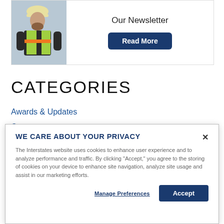[Figure (photo): Newsletter promotional banner with a worker in a hard hat and bright green/orange safety vest on the left, text 'Our Newsletter' and a dark blue 'Read More' button on the right.]
CATEGORIES
Awards & Updates
Careers
Community
WE CARE ABOUT YOUR PRIVACY
The Interstates website uses cookies to enhance user experience and to analyze performance and traffic. By clicking "Accept," you agree to the storing of cookies on your device to enhance site navigation, analyze site usage and assist in our marketing efforts.
Manage Preferences
Accept